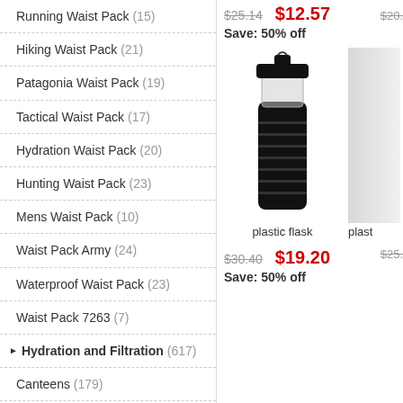Running Waist Pack (15)
Hiking Waist Pack (21)
Patagonia Waist Pack (19)
Tactical Waist Pack (17)
Hydration Waist Pack (20)
Hunting Waist Pack (23)
Mens Waist Pack (10)
Waist Pack Army (24)
Waterproof Waist Pack (23)
Waist Pack 7263 (7)
Hydration and Filtration (617)
Canteens (179)
Corkcicle Canteen (21)
Water Canteen (22)
Canteen Definition (9)
Military Canteen (24)
$25.14  $12.57  Save: 50% off
[Figure (photo): Black plastic flask with black lid and carrying loop]
plastic flask
plast
$30.40  $19.20  Save: 50% off
$25...